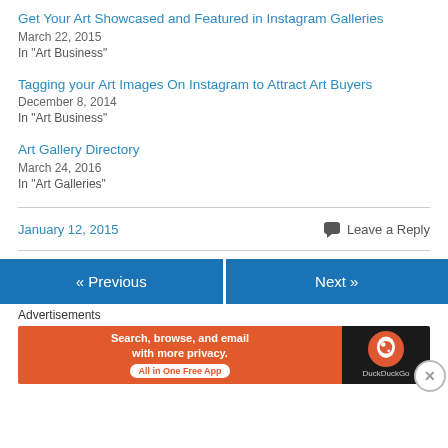Get Your Art Showcased and Featured in Instagram Galleries
March 22, 2015
In "Art Business"
Tagging your Art Images On Instagram to Attract Art Buyers
December 8, 2014
In "Art Business"
Art Gallery Directory
March 24, 2016
In "Art Galleries"
January 12, 2015
Leave a Reply
« Previous
Next »
Advertisements
[Figure (other): DuckDuckGo advertisement banner: orange section with text 'Search, browse, and email with more privacy. All in One Free App' and dark section with DuckDuckGo logo]